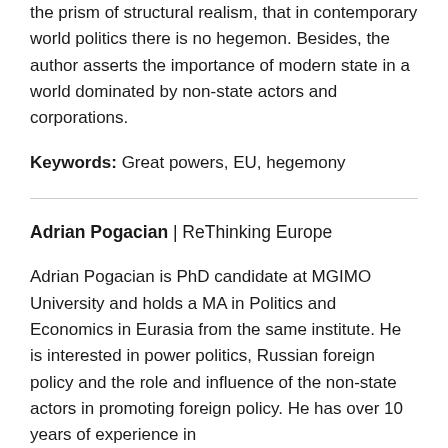the prism of structural realism, that in contemporary world politics there is no hegemon. Besides, the author asserts the importance of modern state in a world dominated by non-state actors and corporations.
Keywords: Great powers, EU, hegemony
Adrian Pogacian | ReThinking Europe
Adrian Pogacian is PhD candidate at MGIMO University and holds a MA in Politics and Economics in Eurasia from the same institute. He is interested in power politics, Russian foreign policy and the role and influence of the non-state actors in promoting foreign policy. He has over 10 years of experience in